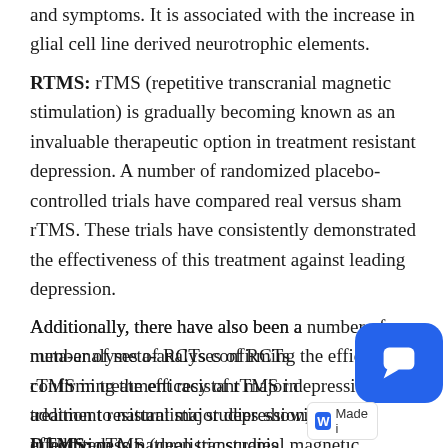and symptoms. It is associated with the increase in glial cell line derived neurotrophic elements.
RTMS: rTMS (repetitive transcranial magnetic stimulation) is gradually becoming known as an invaluable therapeutic option in treatment resistant depression. A number of randomized placebo-controlled trials have compared real versus sham rTMS. These trials have consistently demonstrated the effectiveness of this treatment against leading depression.
Additionally, there have also been a number of meta-analyses of RCTs confirming the efficacy of rTMS in treatment resistant major depression, in addition to naturalistic studies showing its effectiveness in real life clinical settings.
DTMS: dTMS (deep transcranial magnetic